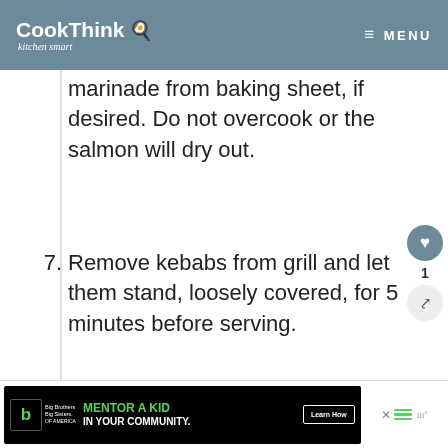CookThink — kitchen smart — MENU
marinade from baking sheet, if desired. Do not overcook or the salmon will dry out.
7. Remove kebabs from grill and let them stand, loosely covered, for 5 minutes before serving.
[Figure (other): Big Brothers Big Sisters advertisement: EMPOWER A KID IN YOUR COMMUNITY TODAY. Learn How button.]
[Figure (other): Big Brothers Big Sisters bottom banner ad: MENTOR A KID IN YOUR COMMUNITY. Learn How button.]